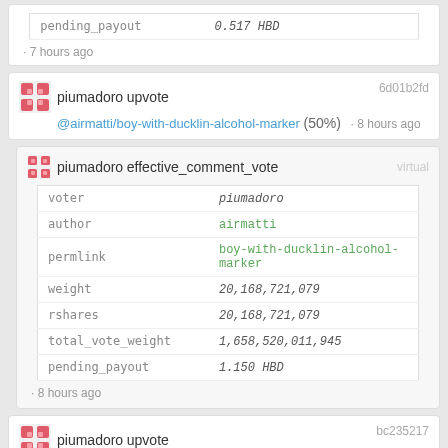| field | value |
| --- | --- |
| pending_payout | 0.517 HBD |
· 7 hours ago
piumadoro upvote @airmatti/boy-with-ducklin-alcohol-marker (50%) · 8 hours ago  6d01b2fd
piumadoro effective_comment_vote  virtual
| field | value |
| --- | --- |
| voter | piumadoro |
| author | airmatti |
| permlink | boy-with-ducklin-alcohol-marker |
| weight | 20,168,721,079 |
| rshares | 20,168,721,079 |
| total_vote_weight | 1,658,520,011,945 |
| pending_payout | 1.150 HBD |
· 8 hours ago
piumadoro upvote @armandosodano/my-solo-exhibition-in-norway · 8 hours ago  bc235217
piumadoro effective_comment_vote  virtual
| field | value |
| --- | --- |
| voter | piumadoro |
| author | armandosodano |
| permlink | my-solo-exhibition-in-norway |